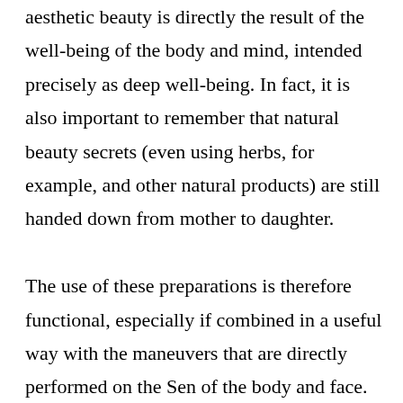aesthetic beauty is directly the result of the well-being of the body and mind, intended precisely as deep well-being. In fact, it is also important to remember that natural beauty secrets (even using herbs, for example, and other natural products) are still handed down from mother to daughter.

The use of these preparations is therefore functional, especially if combined in a useful way with the maneuvers that are directly performed on the Sen of the body and face.